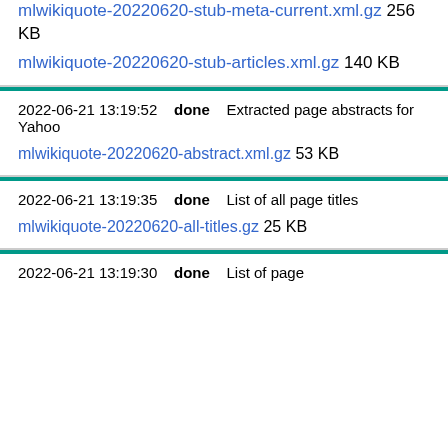mlwikiquote-20220620-stub-meta-current.xml.gz 256 KB
mlwikiquote-20220620-stub-articles.xml.gz 140 KB
2022-06-21 13:19:52   done   Extracted page abstracts for Yahoo
mlwikiquote-20220620-abstract.xml.gz 53 KB
2022-06-21 13:19:35   done   List of all page titles
mlwikiquote-20220620-all-titles.gz 25 KB
2022-06-21 13:19:30   done   List of page